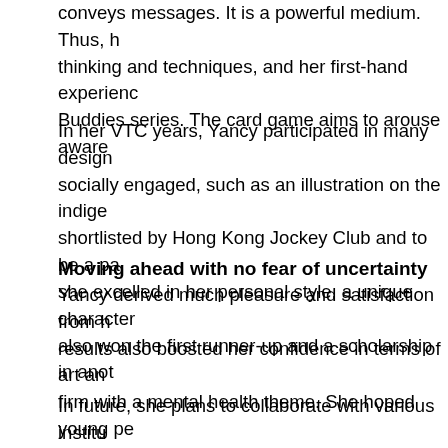conveys messages. It is a powerful medium. Thus, her thinking and techniques, and her first-hand experience Buddies series. The card game aims to arouse aware
In her VTC years, Yancy participated in many design socially engaged, such as an illustration on the indige shortlisted by Hong Kong Jockey Club and to be a pa she excelled in her personal style, a unique character also won the first runner-up and a scholarship in anot
Moving ahead with no fear of uncertainty
Yancy derived much pleasure and satisfaction from h results also boosted her confidence in terms of art an firm with a mental health theme. She hoped young pe more mindful of the subject matter. Although she neve company matters with a positive attitude and worked pandemic. “Together Cards are our hero product. Tho we can still keep on promoting them when the pander
In future, she plans to collaborate with various institu awareness on emotional health. Yancy urged younge persist, you will succeed one day.”